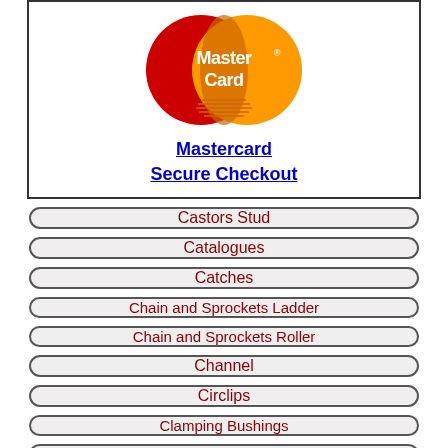[Figure (logo): MasterCard logo - red and yellow overlapping circles with MasterCard text]
Mastercard Secure Checkout
Castors Stud
Catalogues
Catches
Chain and Sprockets Ladder
Chain and Sprockets Roller
Channel
Circlips
Clamping Bushings
Clamping Rings